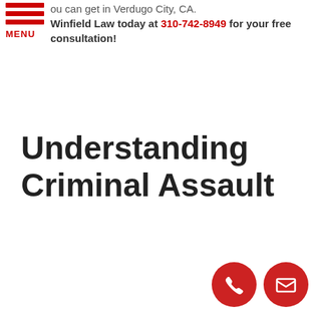ou can get in Verdugo City, CA. Winfield Law today at 310-742-8949 for your free consultation!
Understanding Criminal Assault